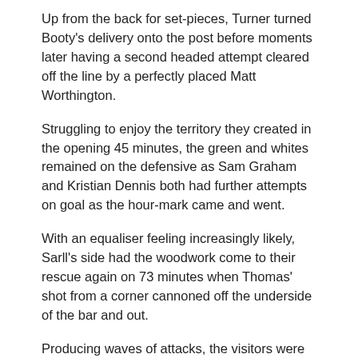Up from the back for set-pieces, Turner turned Booty's delivery onto the post before moments later having a second headed attempt cleared off the line by a perfectly placed Matt Worthington.
Struggling to enjoy the territory they created in the opening 45 minutes, the green and whites remained on the defensive as Sam Graham and Kristian Dennis both had further attempts on goal as the hour-mark came and went.
With an equaliser feeling increasingly likely, Sarll's side had the woodwork come to their rescue again on 73 minutes when Thomas' shot from a corner cannoned off the underside of the bar and out.
Producing waves of attacks, the visitors were left frustrated again just moments later when Dennis' low shot was saved well by Brzozowski who'd narrowed down the angle in readiness of the shot.
As frustrations grew amongst the County ranks as the equaliser continued to elude them, they were left deflated by a rampant five minute spell from the Glovers.